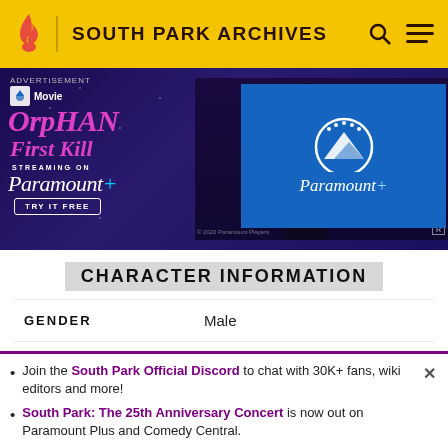SOUTH PARK ARCHIVES
[Figure (screenshot): Paramount+ advertisement for 'Orphan: First Kill' movie, streaming on Paramount+. Shows movie title in pink text, a person's silhouette, and Paramount+ logo on blue background. Includes 'TRY IT FREE' button.]
CHARACTER INFORMATION
| Field | Value |
| --- | --- |
| GENDER | Male |
| RACE | Caucasian |
Join the South Park Official Discord to chat with 30K+ fans, wiki editors and more!
South Park: The 25th Anniversary Concert is now out on Paramount Plus and Comedy Central.